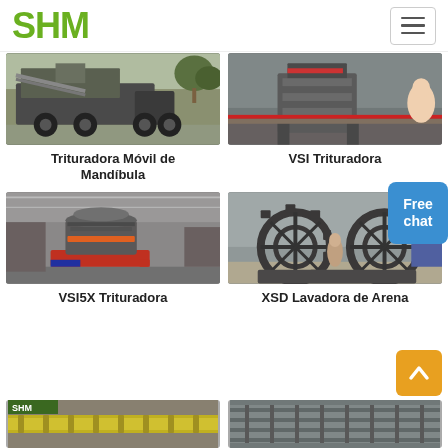SHM
[Figure (photo): Mobile jaw crusher machine on a truck — Trituradora Móvil de Mandíbula]
Trituradora Móvil de Mandíbula
[Figure (photo): VSI crusher machine — VSI Trituradora]
VSI Trituradora
[Figure (photo): VSI5X crusher in a factory — VSI5X Trituradora]
VSI5X Trituradora
[Figure (photo): XSD sand washer large wheel equipment — XSD Lavadora de Arena]
XSD Lavadora de Arena
[Figure (photo): Partial product image bottom left]
[Figure (photo): Partial product image bottom right]